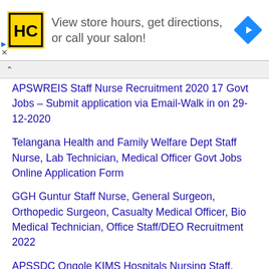[Figure (illustration): Advertisement banner with HC (Hair Club) logo in yellow square, text 'View store hours, get directions, or call your salon!', and a blue diamond navigation arrow icon]
APSWREIS Staff Nurse Recruitment 2020 17 Govt Jobs – Submit application via Email-Walk in on 29-12-2020
Telangana Health and Family Welfare Dept Staff Nurse, Lab Technician, Medical Officer Govt Jobs Online Application Form
GGH Guntur Staff Nurse, General Surgeon, Orthopedic Surgeon, Casualty Medical Officer, Bio Medical Technician, Office Staff/DEO Recruitment 2022
APSSDC Ongole KIMS Hospitals Nursing Staff, Technicians, Housekeeping Staff Jobs Registration Form-AP Private Jobs
Delhi, Ramjas Public School TGT, PGT Teacher, Staff